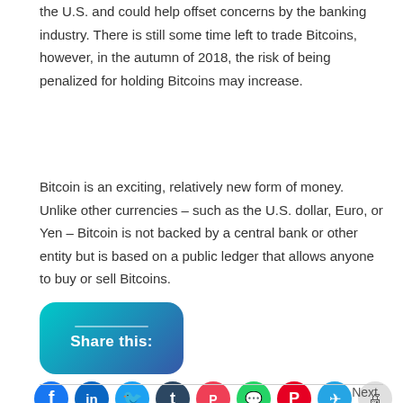the U.S. and could help offset concerns by the banking industry. There is still some time left to trade Bitcoins, however, in the autumn of 2018, the risk of being penalized for holding Bitcoins may increase.
Bitcoin is an exciting, relatively new form of money. Unlike other currencies – such as the U.S. dollar, Euro, or Yen – Bitcoin is not backed by a central bank or other entity but is based on a public ledger that allows anyone to buy or sell Bitcoins.
[Figure (infographic): A rounded rectangle button with a teal-to-dark-blue gradient background containing a thin white horizontal line at the top and the bold white text 'Share this:'.]
[Figure (infographic): A row of social media share icons as colored circles: Facebook (blue), LinkedIn (blue), Twitter (teal), Tumblr (dark navy), Pocket (red-pink), WhatsApp (green), Pinterest (red), Telegram (blue), Print (light gray).]
Next